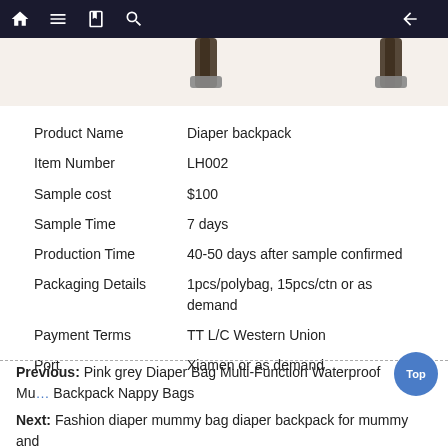Navigation bar with home, menu, book, search, and back icons
[Figure (photo): Partial view of a diaper backpack product image on a beige background, showing straps]
| Field | Value |
| --- | --- |
| Product Name | Diaper backpack |
| Item Number | LH002 |
| Sample cost | $100 |
| Sample Time | 7 days |
| Production Time | 40-50 days after sample confirmed |
| Packaging Details | 1pcs/polybag, 15pcs/ctn or as demand |
| Payment Terms | TT L/C Western Union |
| Port | Xiamen or as demand |
Previous: Pink grey Diaper Bag Multi-Function Waterproof Mu… Backpack Nappy Bags
Next: Fashion diaper mummy bag diaper backpack for mummy and